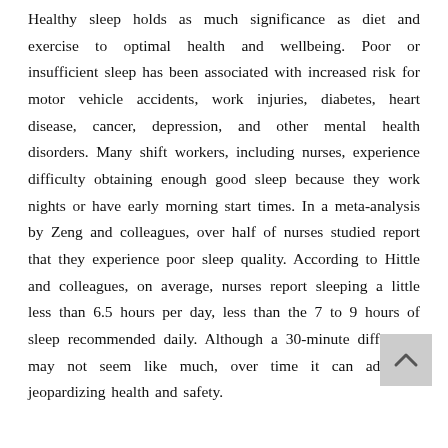Healthy sleep holds as much significance as diet and exercise to optimal health and wellbeing. Poor or insufficient sleep has been associated with increased risk for motor vehicle accidents, work injuries, diabetes, heart disease, cancer, depression, and other mental health disorders. Many shift workers, including nurses, experience difficulty obtaining enough good sleep because they work nights or have early morning start times. In a meta-analysis by Zeng and colleagues, over half of nurses studied report that they experience poor sleep quality. According to Hittle and colleagues, on average, nurses report sleeping a little less than 6.5 hours per day, less than the 7 to 9 hours of sleep recommended daily. Although a 30-minute difference may not seem like much, over time it can add up, jeopardizing health and safety.